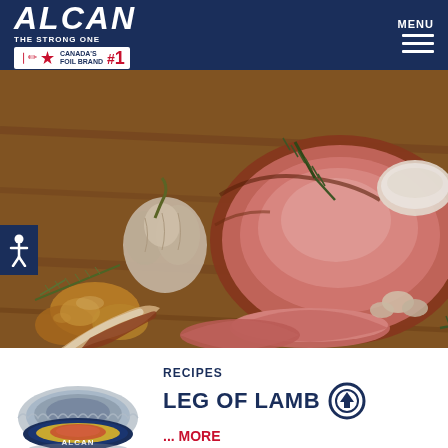[Figure (logo): ALCAN logo with THE STRONG ONE tagline and CANADA'S #1 FOIL BRAND badge, white on dark navy background. MENU button with hamburger lines on right.]
[Figure (photo): Close-up food photo of a roasted leg of lamb on a wooden cutting board, with sliced pink meat, garlic bulb, rosemary sprigs, and roasted potatoes.]
[Figure (photo): Alcan foil roasting pan product image with ALCAN label showing a lamb dish.]
RECIPES
LEG OF LAMB
... MORE